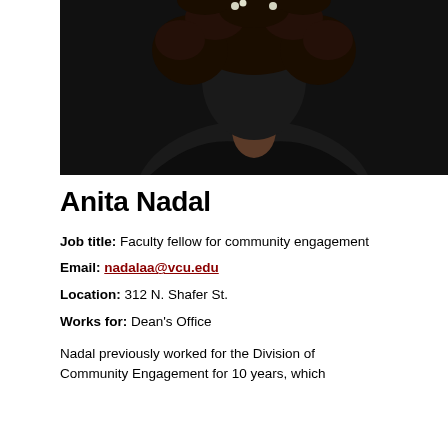[Figure (photo): Headshot photo of Anita Nadal, a woman with dark curly hair, wearing a dark top with pearl earrings, photographed against a dark background.]
Anita Nadal
Job title: Faculty fellow for community engagement
Email: nadalaa@vcu.edu
Location: 312 N. Shafer St.
Works for: Dean's Office
Nadal previously worked for the Division of Community Engagement for 10 years, which